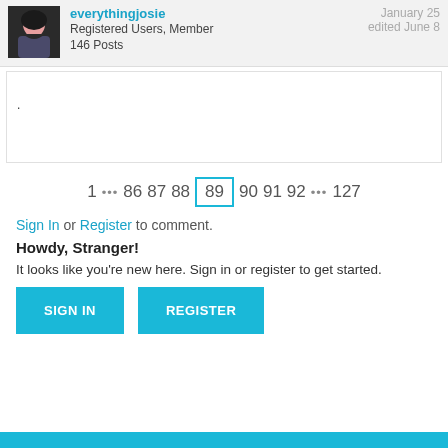everythingjosie — Registered Users, Member — 146 Posts — January 25 — edited June 8
.
1 … 86 87 88 89 90 91 92 … 127
Sign In or Register to comment.
Howdy, Stranger!
It looks like you're new here. Sign in or register to get started.
SIGN IN
REGISTER